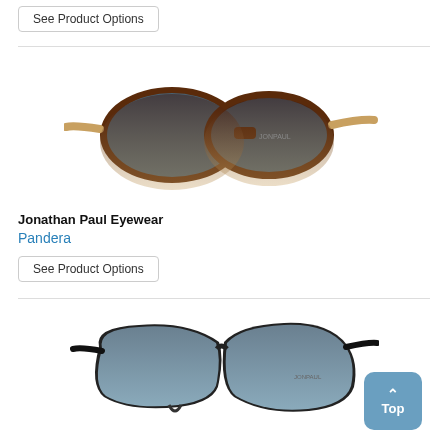See Product Options
[Figure (photo): Jonathan Paul Eyewear Pandera sunglasses - brown tortoise frame fading to tan/clear on temples, with dark grey lenses]
Jonathan Paul Eyewear
Pandera
See Product Options
[Figure (photo): Sunglasses with black matte frame, large wraparound style with grey-blue lenses, fitovers design]